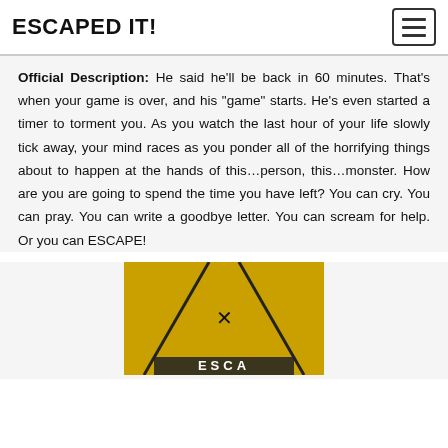ESCAPED IT!
Official Description: He said he’ll be back in 60 minutes. That’s when your game is over, and his “game” starts. He’s even started a timer to torment you. As you watch the last hour of your life slowly tick away, your mind races as you ponder all of the horrifying things about to happen at the hands of this…person, this…monster. How are you are going to spend the time you have left? You can cry. You can pray. You can write a goodbye letter. You can scream for help. Or you can ESCAPE!
[Figure (photo): A yellow surface with an X mark and partial text visible at the bottom, appearing to be a broken/missing image placeholder or an actual photo of a yellow object.]